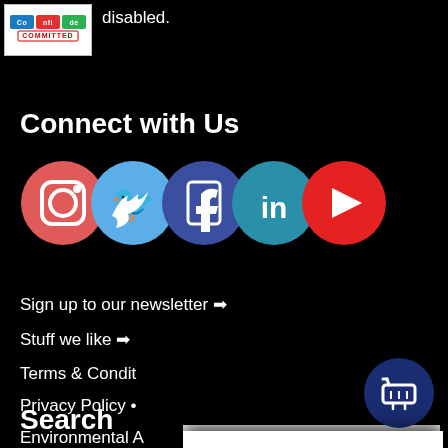[Figure (logo): Confidence Committed badge/logo in white box with colored squares]
disabled.
Connect with Us
[Figure (illustration): Five social media icons in circles: Instagram (red-pink), Twitter (blue), Facebook (dark blue), LinkedIn (teal), YouTube (red)]
Sign up to our newsletter →
Stuff we like →
Terms & Condit
Privacy Policy •
Environmental A
The Active Hands Company uses cookies and analytics to create a better user experience. Are you OK with this?
Accept
info…
Search
[Figure (illustration): Shopping cart icon in dark navy circle]